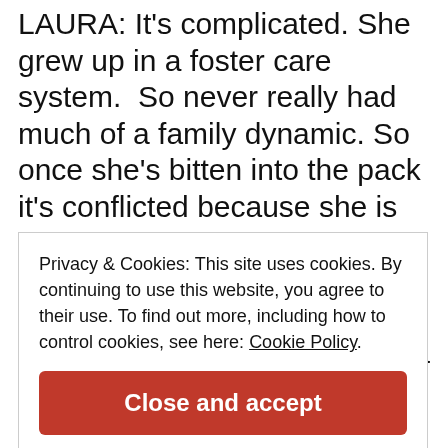LAURA: It's complicated. She grew up in a foster care system.  So never really had much of a family dynamic. So once she's bitten into the pack it's conflicted because she is the trade.  It wasn't by her own will.  They bit her. And she had to survive it on her own. But at the same time she finally has a family that she's always wanted and people who will look out for her.  So she's torn between what she's always wanted
Privacy & Cookies: This site uses cookies. By continuing to use this website, you agree to their use. To find out more, including how to control cookies, see here: Cookie Policy
Close and accept